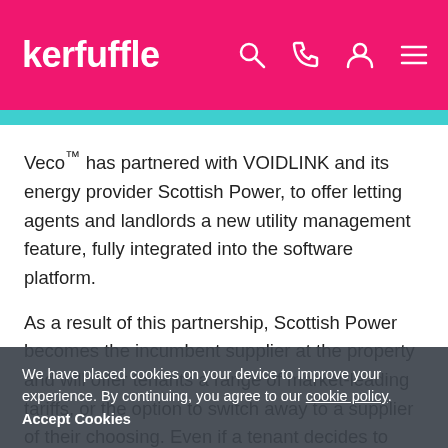kerfuffle
Veco™ has partnered with VOIDLINK and its energy provider Scottish Power, to offer letting agents and landlords a new utility management feature, fully integrated into the software platform.
As a result of this partnership, Scottish Power becomes the incumbent supplier at the property and will offer tenants a range of market-leading tariffs, or the option to switch away to a supplier of their choosing. Even if a tenant decides to switch at the start of a tenancy, the income still comes
We have placed cookies on your device to improve your experience. By continuing, you agree to our cookie policy. Accept Cookies